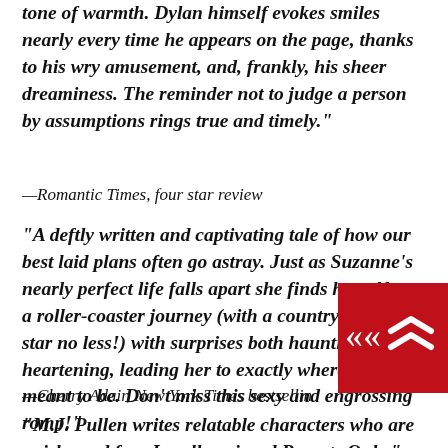tone of warmth. Dylan himself evokes smiles nearly every time he appears on the page, thanks to his wry amusement, and, frankly, his sheer dreaminess. The reminder not to judge a person by assumptions rings true and timely.”
—Romantic Times, four star review
“A deftly written and captivating tale of how our best laid plans often go astray. Just as Suzanne’s nearly perfect life falls apart she finds herself on a roller-coaster journey (with a country music star no less!) with surprises both haunting and heartening, leading her to exactly where she was meant to be. Don’t miss this sexy and engrossing romp!”
—Cherry Adair, New York Times bestsellin
“M.J. Pullen writes relatable characters who are quirky and fun. I really enjoyed Regrets Only.”